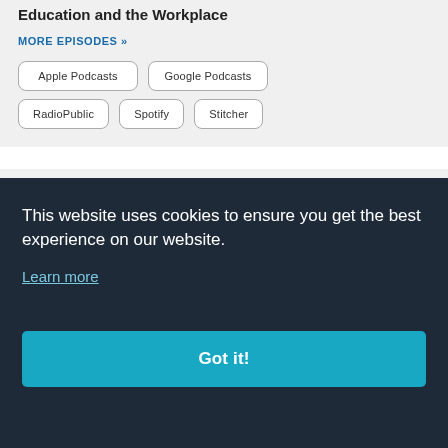Education and the Workplace
MORE EPISODES »
Apple Podcasts
Google Podcasts
RadioPublic
Spotify
Stitcher
[Figure (logo): DiverseJobs logo with 'Diverse' in blue and 'Jobs' in orange/yellow]
This website uses cookies to ensure you get the best experience on our website.
Learn more
Got it!